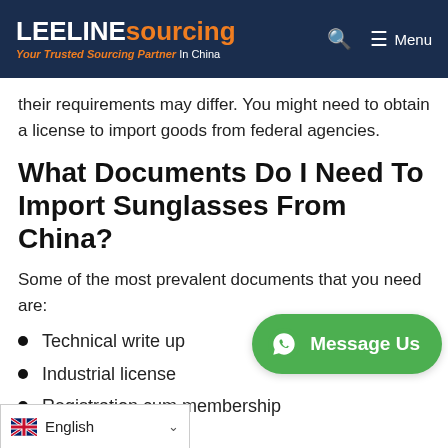LEELINE sourcing — Your Trusted Sourcing Partner In China
their requirements may differ. You might need to obtain a license to import goods from federal agencies.
What Documents Do I Need To Import Sunglasses From China?
Some of the most prevalent documents that you need are:
Technical write up
Industrial license
Registration cum membership